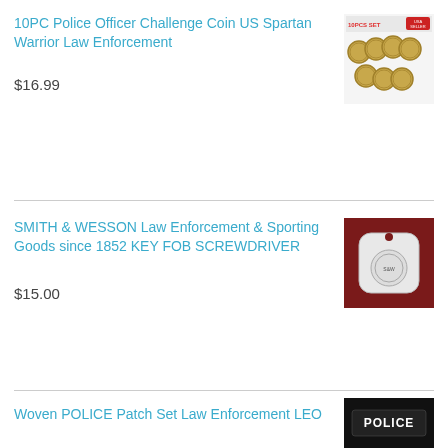10PC Police Officer Challenge Coin US Spartan Warrior Law Enforcement
$16.99
[Figure (photo): 10-piece set of gold-colored challenge coins with Spartan warrior design, stacked in two rows, with '10PCS SET USA SELLER' badge in upper right]
SMITH & WESSON Law Enforcement & Sporting Goods since 1852 KEY FOB SCREWDRIVER
$15.00
[Figure (photo): White metal key fob screwdriver with Smith & Wesson emblem on dark red background]
[Figure (illustration): Back-to-top chevron arrow icon in light blue]
Woven POLICE Patch Set Law Enforcement LEO
[Figure (photo): Black police patch with white 'POLICE' text]